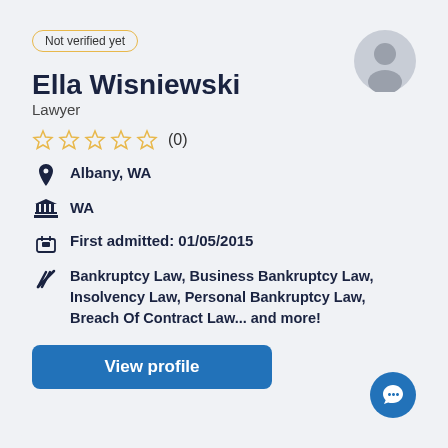Not verified yet
Ella Wisniewski
Lawyer
★★★★★ (0)
Albany, WA
WA
First admitted: 01/05/2015
Bankruptcy Law, Business Bankruptcy Law, Insolvency Law, Personal Bankruptcy Law, Breach Of Contract Law... and more!
View profile